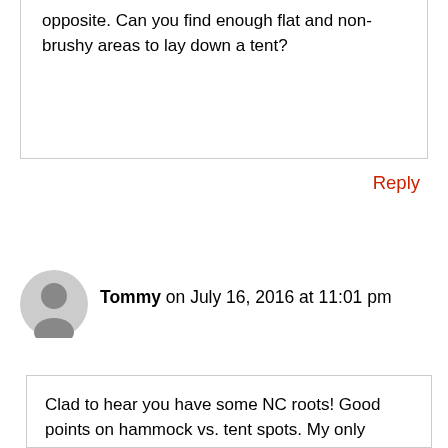opposite. Can you find enough flat and non-brushy areas to lay down a tent?
Reply
Tommy on July 16, 2016 at 11:01 pm
Clad to hear you have some NC roots! Good points on hammock vs. tent spots. My only concern with the hammock option on the MST is the coastal & outer banks section. After reading the excellent 3-part hammock article by Alan Dixon I need to lezrn about modifying the hammock to a ground setup in which I could survive rainy weather.